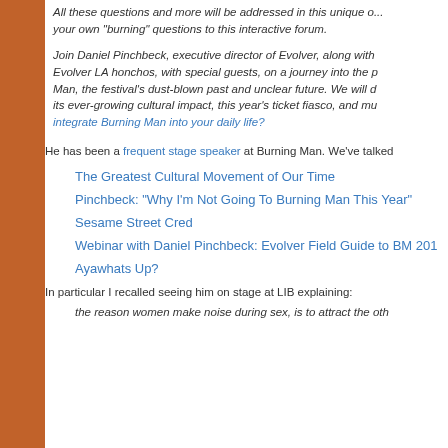All these questions and more will be addressed in this unique opportunity to bring your own "burning" questions to this interactive forum.
Join Daniel Pinchbeck, executive director of Evolver, along with Evolver LA honchos, with special guests, on a journey into the p... Man, the festival's dust-blown past and unclear future. We will d... its ever-growing cultural impact, this year's ticket fiasco, and mu... integrate Burning Man into your daily life?
He has been a frequent stage speaker at Burning Man. We've talked
The Greatest Cultural Movement of Our Time
Pinchbeck: "Why I'm Not Going To Burning Man This Year"
Sesame Street Cred
Webinar with Daniel Pinchbeck: Evolver Field Guide to BM 201...
Ayawhats Up?
In particular I recalled seeing him on stage at LIB explaining:
the reason women make noise during sex, is to attract the oth...